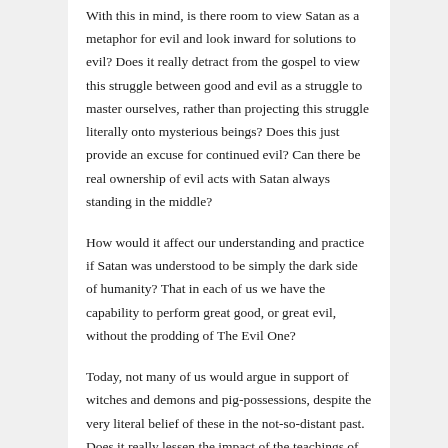With this in mind, is there room to view Satan as a metaphor for evil and look inward for solutions to evil? Does it really detract from the gospel to view this struggle between good and evil as a struggle to master ourselves, rather than projecting this struggle literally onto mysterious beings? Does this just provide an excuse for continued evil? Can there be real ownership of evil acts with Satan always standing in the middle?
How would it affect our understanding and practice if Satan was understood to be simply the dark side of humanity? That in each of us we have the capability to perform great good, or great evil, without the prodding of The Evil One?
Today, not many of us would argue in support of witches and demons and pig-possessions, despite the very literal belief of these in the not-so-distant past. Does it really lessen the impact of the teachings of Christ to remove the literalness of the